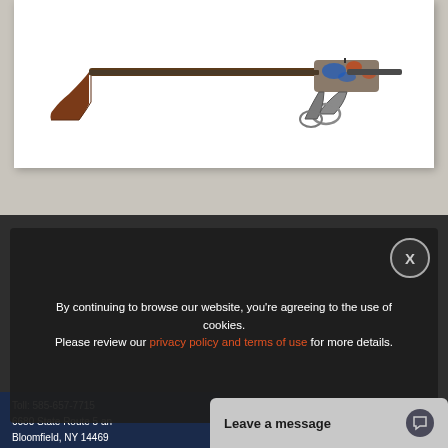[Figure (photo): A lever-action rifle with ornate case-hardened receiver featuring blue and orange color patterns, wooden stock with reddish-brown finish, shown in profile view against a white background.]
By continuing to browse our website, you're agreeing to the use of cookies. Please review our privacy policy and terms of use for more details.
Toll: 585-657-7715
6680 State Route 5 and 20
Bloomfield, NY 14469
Leave a message